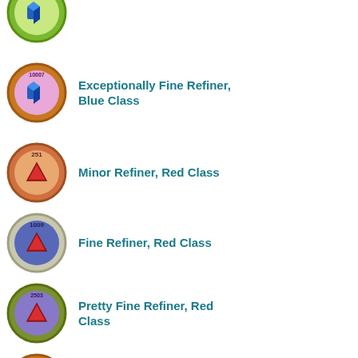Exceptionally Fine Refiner, Blue Class
Minor Refiner, Red Class
Fine Refiner, Red Class
Pretty Fine Refiner, Red Class
Exceptionally Fine Refiner, Red Class
Minor Refiner, Shiny Class
Fine Refiner, Shiny Class